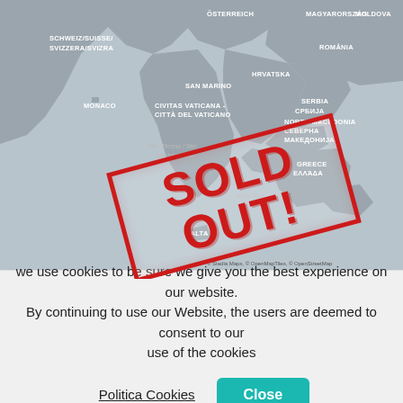[Figure (map): Map of Mediterranean / Southern Europe region showing Italy, Greece, Croatia, Romania, and surrounding countries with gray country fill and white borders. A large red 'SOLD OUT!' stamp is overlaid diagonally. Map attribution: © Stadia Maps, © OpenMapTiles, © OpenStreetMap.]
Mediterranean
we use cookies to be sure we give you the best experience on our website. By continuing to use our Website, the users are deemed to consent to our use of the cookies
Politica Cookies   Close